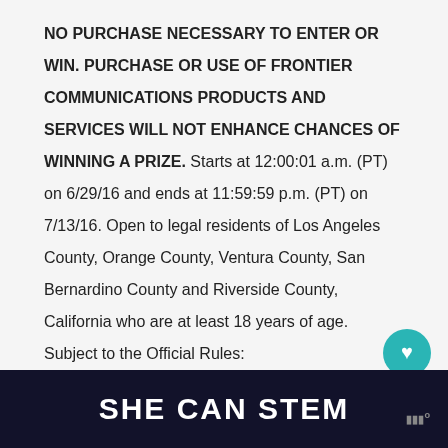NO PURCHASE NECESSARY TO ENTER OR WIN. PURCHASE OR USE OF FRONTIER COMMUNICATIONS PRODUCTS AND SERVICES WILL NOT ENHANCE CHANCES OF WINNING A PRIZE. Starts at 12:00:01 a.m. (PT) on 6/29/16 and ends at 11:59:59 p.m. (PT) on 7/13/16. Open to legal residents of Los Angeles County, Orange County, Ventura County, San Bernardino County and Riverside County, California who are at least 18 years of age. Subject to the Official Rules: www.frontiersocal.com. Sponsor: Frontier Communications. Tickets are not guaranteed. Tickets and seating at the screening are available on a first come, first served basis, while supplies last. Possession of a ticket does not guarantee admission. For
[Figure (other): UI overlay: heart/like button (teal circle with heart icon), share button (white circle with share icon), and 'WHAT'S NEXT' promo bar with thumbnail]
[Figure (other): Dark bottom banner with bold white text 'SHE CAN STEM' and a logo mark in the lower right corner]